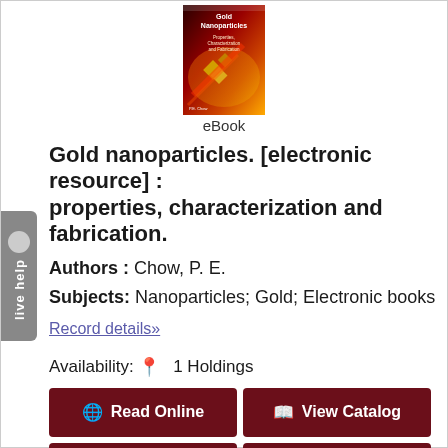[Figure (photo): Book cover of 'Gold Nanoparticles: Properties, Characterization and Fabrication' by P.E. Chow, showing a dark red/orange design with nanoparticle imagery]
eBook
Gold nanoparticles. [electronic resource] : properties, characterization and fabrication.
Authors : Chow, P. E.
Subjects: Nanoparticles; Gold; Electronic books
Record details»
Availability: 1 Holdings
Read Online
View Catalog
Read More
Add to Saved list